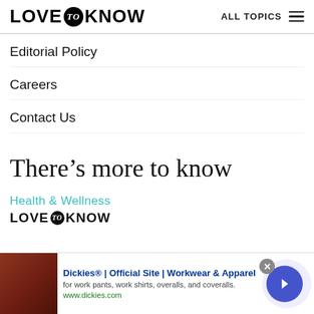LOVE to KNOW | ALL TOPICS
Editorial Policy
Careers
Contact Us
There’s more to know
[Figure (logo): Health & Wellness LoveToKnow brand logo with teal/cyan text for Health & Wellness and black LOVE to KNOW text]
Do not sell my info
Cookie Settings
[Figure (screenshot): Dickies advertisement banner: Dickies | Official Site | Workwear & Apparel, for work pants, work shirts, overalls, and coveralls. www.dickies.com]